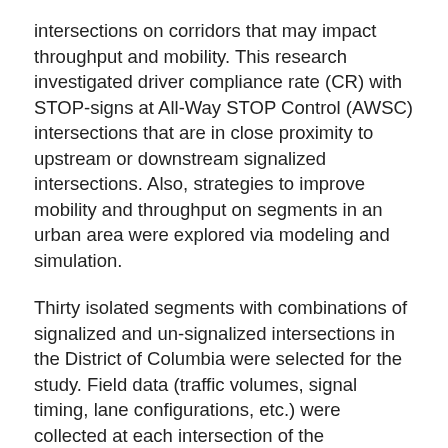intersections on corridors that may impact throughput and mobility. This research investigated driver compliance rate (CR) with STOP-signs at All-Way STOP Control (AWSC) intersections that are in close proximity to upstream or downstream signalized intersections. Also, strategies to improve mobility and throughput on segments in an urban area were explored via modeling and simulation.
Thirty isolated segments with combinations of signalized and un-signalized intersections in the District of Columbia were selected for the study. Field data (traffic volumes, signal timing, lane configurations, etc.) were collected at each intersection of the segments. Driver compliance with STOP-signs at AWSC intersections within the segments was also observed. In all, 13,956 observations were made at 57 AWSC intersections. The segments were then modelled in the software program, and two scenarios were simulated. The difference between the two...